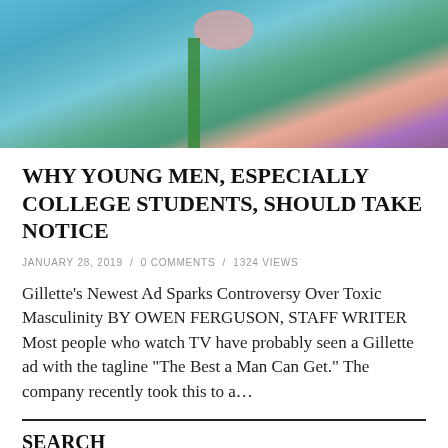[Figure (illustration): Colorful abstract illustration showing a person with blue, teal, pink, and purple tones]
WHY YOUNG MEN, ESPECIALLY COLLEGE STUDENTS, SHOULD TAKE NOTICE
JANUARY 28, 2019 / 0 COMMENTS / 1324 VIEWS
Gillette’s Newest Ad Sparks Controversy Over Toxic Masculinity BY OWEN FERGUSON, STAFF WRITER Most people who watch TV have probably seen a Gillette ad with the tagline “The Best a Man Can Get.” The company recently took this to a…
SEARCH